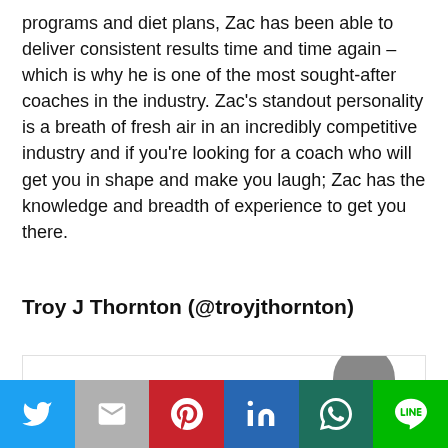programs and diet plans, Zac has been able to deliver consistent results time and time again – which is why he is one of the most sought-after coaches in the industry. Zac's standout personality is a breath of fresh air in an incredibly competitive industry and if you're looking for a coach who will get you in shape and make you laugh; Zac has the knowledge and breadth of experience to get you there.
Troy J Thornton (@troyjthornton)
[Figure (other): Author avatar / profile picture area with a grey circular avatar silhouette visible in a bordered box]
[Figure (infographic): Social share bar with buttons: Twitter (blue), Gmail (grey), Pinterest (red), LinkedIn (blue), WhatsApp (dark teal), Line (green)]